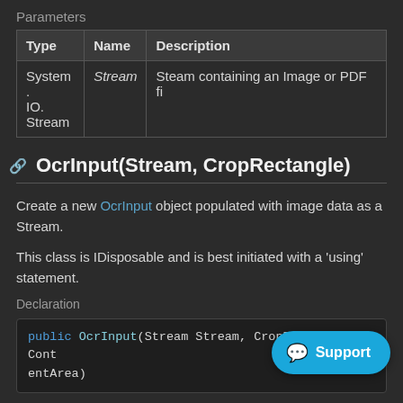Parameters
| Type | Name | Description |
| --- | --- | --- |
| System.IO.Stream | Stream | Steam containing an Image or PDF fi |
OcrInput(Stream, CropRectangle)
Create a new OcrInput object populated with image data as a Stream.
This class is IDisposable and is best initiated with a 'using' statement.
Declaration
Parameters